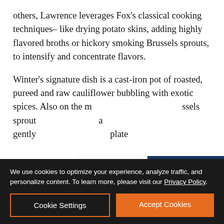others, Lawrence leverages Fox's classical cooking techniques– like drying potato skins, adding highly flavored broths or hickory smoking Brussels sprouts, to intensify and concentrate flavors.
Winter's signature dish is a cast-iron pot of roasted, pureed and raw cauliflower bubbling with exotic spices. Also on the m[enu are Bru]ssels sprout[s ... with] a gently [prepared] [tem]plate [dish] ...
[Figure (advertisement): Exchange Bank advertisement with orange EB logo on left, 'Exchange Bank' text in blue, Member FDIC / Equal Lender / NMLS ID 643948 text below, and dark navy blue panel on right with 'Community Strong.' in white italic serif font.]
We use cookies to optimize your experience, analyze traffic, and personalize content. To learn more, please visit our Privacy Policy.